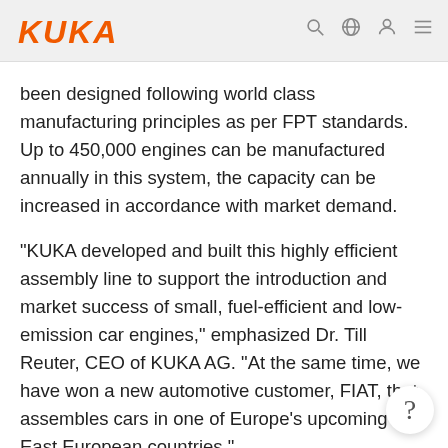KUKA
been designed following world class manufacturing principles as per FPT standards. Up to 450,000 engines can be manufactured annually in this system, the capacity can be increased in accordance with market demand.
"KUKA developed and built this highly efficient assembly line to support the introduction and market success of small, fuel-efficient and low-emission car engines," emphasized Dr. Till Reuter, CEO of KUKA AG. "At the same time, we have won a new automotive customer, FIAT, that assembles cars in one of Europe's upcoming East European countries."
Fiat unveiled its new Twin Air engine for the Fiat 50… small car to the world's press at the beginning of July…